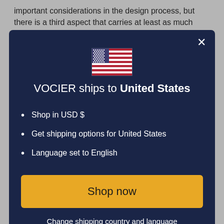important considerations in the design process, but there is a third aspect that carries at least as much weight: the beauty
[Figure (screenshot): Modal popup dialog with dark navy background. Shows a US flag emoji at top center, title 'VOCIER ships to United States', three bullet points listing: 'Shop in USD $', 'Get shipping options for United States', 'Language set to English', a yellow 'Shop now' button, and an underlined 'Change shipping country and language' link. An X close button appears in the top right corner.]